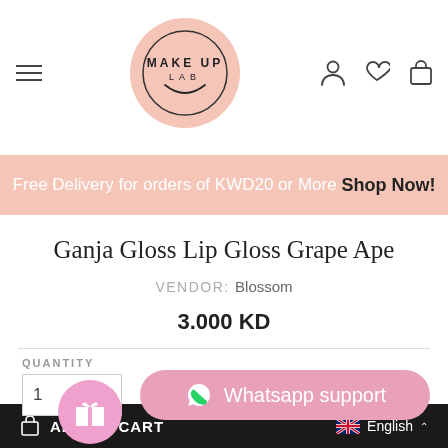[Figure (logo): Make Up Lab logo in a pink circle with smiley arc]
Free Delivery for orders of KWD20 or More Shop Now!
Ganja Gloss Lip Gloss Grape Ape
VENDOR: Blossom
3.000 KD
QUANTITY
[Figure (illustration): Whatsapp support button with phone icon]
[Figure (illustration): Gift icon circle button]
ADD TO CART
English